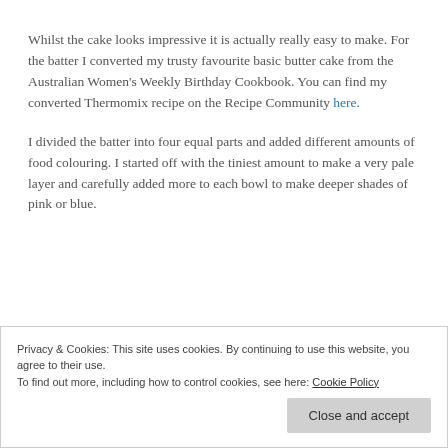Whilst the cake looks impressive it is actually really easy to make. For the batter I converted my trusty favourite basic butter cake from the Australian Women's Weekly Birthday Cookbook. You can find my converted Thermomix recipe on the Recipe Community here.
I divided the batter into four equal parts and added different amounts of food colouring. I started off with the tiniest amount to make a very pale layer and carefully added more to each bowl to make deeper shades of pink or blue.
Privacy & Cookies: This site uses cookies. By continuing to use this website, you agree to their use.
To find out more, including how to control cookies, see here: Cookie Policy